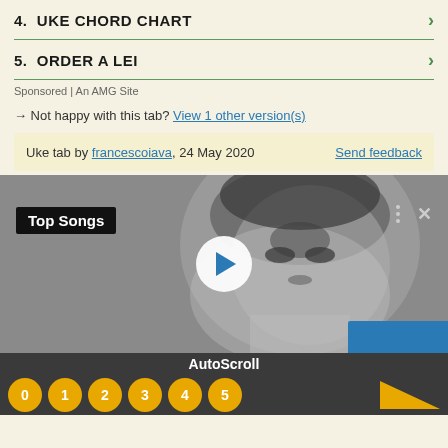4.  UKE CHORD CHART
5.  ORDER A LEI
Sponsored | An AMG Site
→ Not happy with this tab? View 1 other version(s)
Uke tab by francescoiava, 24 May 2020    Send feedback
[Figure (screenshot): Video thumbnail showing a black and white photo of Elvis Presley with a Top Songs badge overlay, play button, and a partially visible blue button at bottom right]
AutoScroll
0  1  2  3  4  5